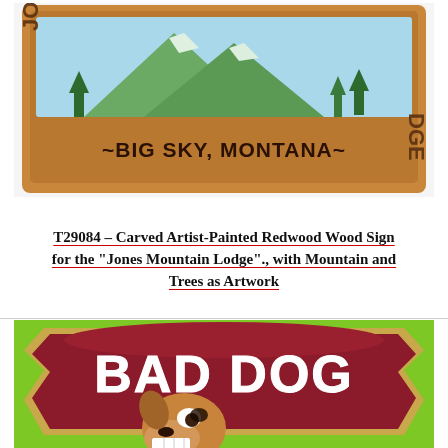[Figure (photo): Photo of a carved and artist-painted redwood wood sign for 'Jones Mountain Lodge' in Big Sky, Montana. The sign has a wooden brown frame with the text '~BIG SKY, MONTANA~' at the bottom, and features a mountain and trees scenic illustration in the center.]
T29084 – Carved Artist-Painted Redwood Wood Sign for the "Jones Mountain Lodge"., with Mountain and Trees as Artwork
[Figure (photo): Photo of a carved sign reading 'BAD DOG' in white lettering on a dark red/maroon textured background with an arched wooden frame with gold trim, featuring a cartoon angry dog illustration.]